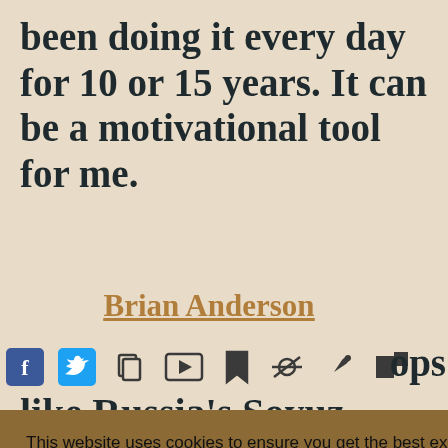been doing it every day for 10 or 15 years. It can be a motivational tool for me.
Brian Anderson
[Figure (infographic): Social media and action icons: Facebook, Twitter, copy, video, bookmark, hide, pen/edit, flag]
This website uses cookies to ensure you get the best experience on our website. Learn more
Got it!
k at
m a
ops
like Russia's Soyuz. Tho